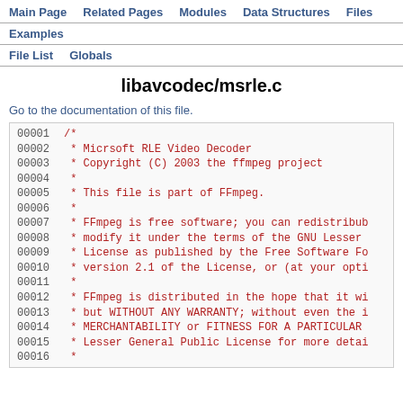Main Page   Related Pages   Modules   Data Structures   Files
Examples
File List   Globals
libavcodec/msrle.c
Go to the documentation of this file.
00001  /*
00002   * Micrsoft RLE Video Decoder
00003   * Copyright (C) 2003 the ffmpeg project
00004   *
00005   * This file is part of FFmpeg.
00006   *
00007   * FFmpeg is free software; you can redistribu
00008   * modify it under the terms of the GNU Lesser
00009   * License as published by the Free Software Fo
00010   * version 2.1 of the License, or (at your opti
00011   *
00012   * FFmpeg is distributed in the hope that it wi
00013   * but WITHOUT ANY WARRANTY; without even the i
00014   * MERCHANTABILITY or FITNESS FOR A PARTICULAR
00015   * Lesser General Public License for more detai
00016   *
00017   * You should have received a copy of the GNU L
00018   * License along with FFmpeg; if not, write to
00019   * Foundation, Inc., 51 Franklin Street, Fifth
00020   */
00021